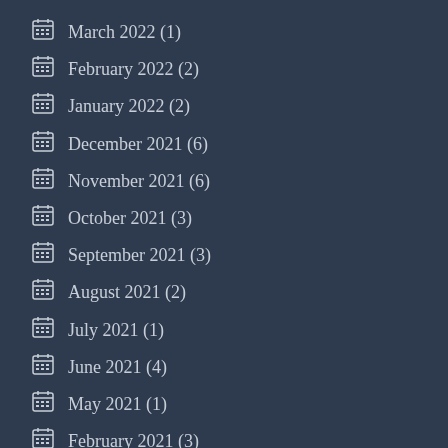March 2022 (1)
February 2022 (2)
January 2022 (2)
December 2021 (6)
November 2021 (6)
October 2021 (3)
September 2021 (3)
August 2021 (2)
July 2021 (1)
June 2021 (4)
May 2021 (1)
February 2021 (3)
January 2021 (3)
December 2020 (2)